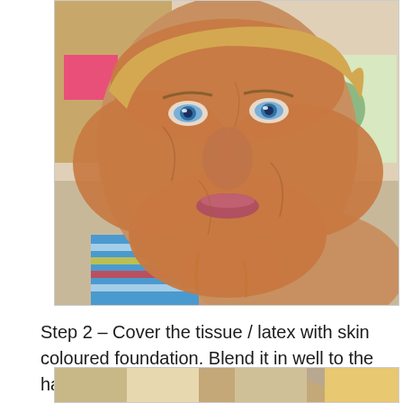[Figure (photo): Close-up photo of a person with skin-coloured foundation (orange-tan) applied heavily over tissue/latex on their face, covering most of the face area except around the eyes. The person has blue eyes and is wearing a blue and multicoloured striped top. Background shows a room with shelves.]
Step 2 – Cover the tissue / latex with skin coloured foundation. Blend it in well to the hairline.
[Figure (photo): Partial view of another photo showing a person, partially visible at the bottom of the page.]